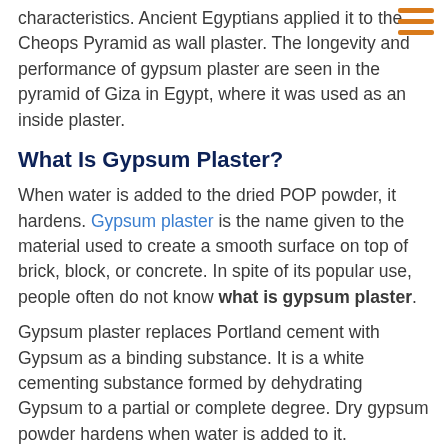characteristics. Ancient Egyptians applied it to the Cheops Pyramid as wall plaster. The longevity and performance of gypsum plaster are seen in the pyramid of Giza in Egypt, where it was used as an inside plaster.
What Is Gypsum Plaster?
When water is added to the dried POP powder, it hardens. Gypsum plaster is the name given to the material used to create a smooth surface on top of brick, block, or concrete. In spite of its popular use, people often do not know what is gypsum plaster.
Gypsum plaster replaces Portland cement with Gypsum as a binding substance. It is a white cementing substance formed by dehydrating Gypsum to a partial or complete degree. Dry gypsum powder hardens when water is added to it.